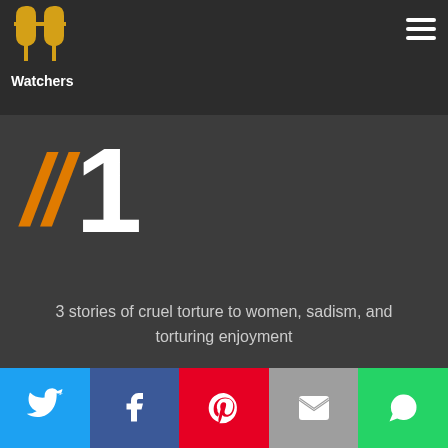PP Watchers
jakeson
// 1
3 stories of cruel torture to women, sadism, and torturing enjoyment
Read the review on Trakt.tv
[Figure (infographic): Social sharing bar with Twitter, Facebook, Pinterest, Email, and WhatsApp icons]